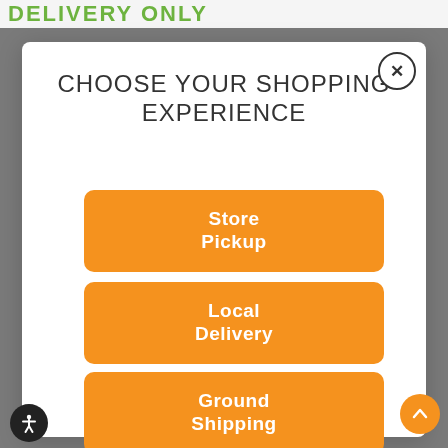DELIVERY ONLY
CHOOSE YOUR SHOPPING EXPERIENCE
Store Pickup
Local Delivery
Ground Shipping